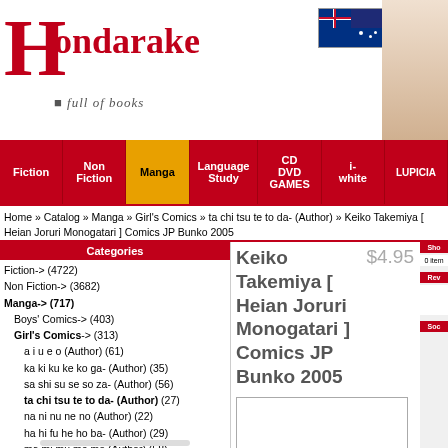[Figure (logo): Hondarake logo with large red H and 'full of books' tagline, Australian flag visible]
Navigation bar: Fiction | Non Fiction | Manga (active) | Language Study | CD DVD GAMES | i-white | LUPICIA
Home » Catalog » Manga » Girl's Comics » ta chi tsu te to da- (Author) » Keiko Takemiya [ Heian Joruri Monogatari ] Comics JP Bunko 2005
Categories
Fiction-> (4722)
Non Fiction-> (3682)
Manga-> (717)
Boys' Comics-> (403)
Girl's Comics-> (313)
a i u e o (Author) (61)
ka ki ku ke ko ga- (Author) (35)
sa shi su se so za- (Author) (56)
ta chi tsu te to da- (Author) (27)
na ni nu ne no (Author) (22)
ha hi fu he ho ba- (Author) (29)
ma mi mu me mo (Author) (58)
ya yu yo (Author) (15)
ra ri ru re ro (Author) (2)
wa wo n & etc (Author) (8)
Boys' Love Manga & Novels->
Mobile Suit GUNDAM (1)
Language Study-> (221)
CD DVD GAMES-> (897)
i-white (11)
LUPICIA->
Others-> (5)
Free Paper (2)
Keiko Takemiya [ Heian Joruri Monogatari ] Comics JP Bunko 2005
$4.95
[Figure (photo): Product image box (empty/white)]